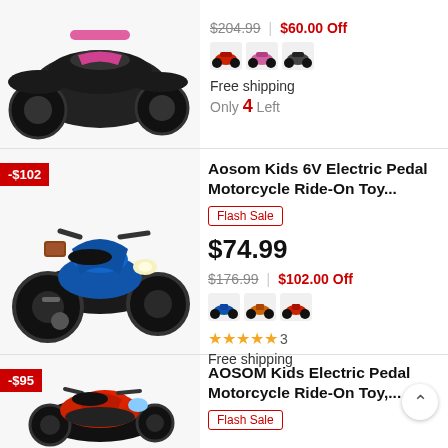[Figure (photo): Kids ATV ride-on toy, partial view from top, pink/black color]
$204.99 | $60.00 Off
[Figure (photo): Three color swatch thumbnails of ATV toy: red, pink, black]
Free shipping
Only 4 Left
[Figure (photo): Aosom Kids 6V Electric Pedal Motorcycle, blue/black, with -$102 badge]
Aosom Kids 6V Electric Pedal Motorcycle Ride-On Toy...
Flash Sale
$74.99
$176.99 | $102.00 Off
[Figure (photo): Three color swatches for motorcycle: blue, orange, red]
★★★★★ 3
Free shipping
[Figure (photo): AOSOM Kids Electric Pedal Motorcycle red/black, with -$95 badge]
AOSOM Kids Electric Pedal Motorcycle Ride-On Toy,...
Flash Sale